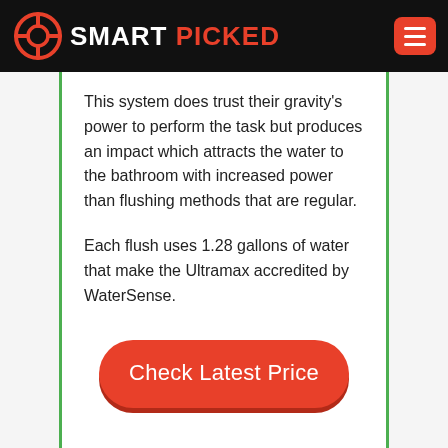SMART PICKED
This system does trust their gravity's power to perform the task but produces an impact which attracts the water to the bathroom with increased power than flushing methods that are regular.
Each flush uses 1.28 gallons of water that make the Ultramax accredited by WaterSense.
Check Latest Price